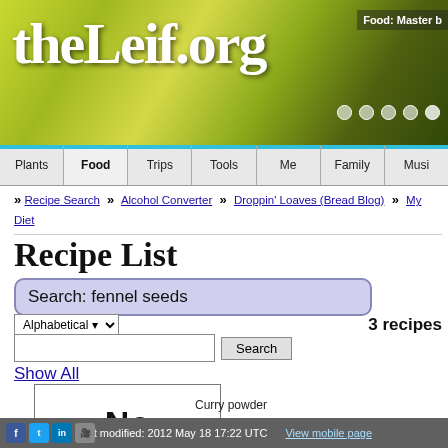[Figure (screenshot): Website header banner for theLeif.org with nature/plant background image (green and yellow tones). Shows 'Food: Master b' text and navigation dots on the right side.]
theLeif.org
Food: Master b
» Recipe Search   » Alcohol Converter   » Droppin' Loaves (Bread Blog)   » My Diet
Recipe List
Search: fennel seeds
Alphabetical ▼    3 recipes
Search
Show All
[Figure (illustration): Recipe card placeholder showing 'No image' text in bold]
Curry powder
Last modified: 2012 May 18 17:22 UTC   View mobile page